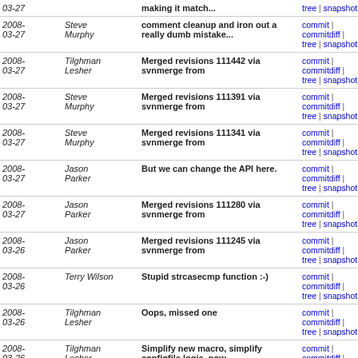| Date | Author | Message | Links |
| --- | --- | --- | --- |
| 2008-03-27 | Steve Murphy | comment cleanup and iron out a really dumb mistake... | commit | commitdiff | tree | snapshot |
| 2008-03-27 | Tilghman Lesher | Merged revisions 111442 via svnmerge from | commit | commitdiff | tree | snapshot |
| 2008-03-27 | Steve Murphy | Merged revisions 111391 via svnmerge from | commit | commitdiff | tree | snapshot |
| 2008-03-27 | Steve Murphy | Merged revisions 111341 via svnmerge from | commit | commitdiff | tree | snapshot |
| 2008-03-27 | Jason Parker | But we can change the API here. | commit | commitdiff | tree | snapshot |
| 2008-03-27 | Jason Parker | Merged revisions 111280 via svnmerge from | commit | commitdiff | tree | snapshot |
| 2008-03-26 | Jason Parker | Merged revisions 111245 via svnmerge from | commit | commitdiff | tree | snapshot |
| 2008-03-26 | Terry Wilson | Stupid strcasecmp function :-) | commit | commitdiff | tree | snapshot |
| 2008-03-26 | Tilghman Lesher | Oops, missed one | commit | commitdiff | tree | snapshot |
| 2008-03-26 | Tilghman Lesher | Simplify new macro, simplify configfile logic, now... | commit | commitdiff | tree | snapshot |
| 2008-03-26 | Joshua Colp | Merged revisions 111129 via svnmerge from | commit | commitdiff | tree | snapshot |
| 2008-03-26 | Kevin P. Fleming | Merged revisions 111126 via svnmerge from | commit | commitdiff | tree | snapshot |
| 2008-03-26 | Mark Michelson | Merged revisions 111121 via svnmerge from | commit | commitdiff | tree | snapshot |